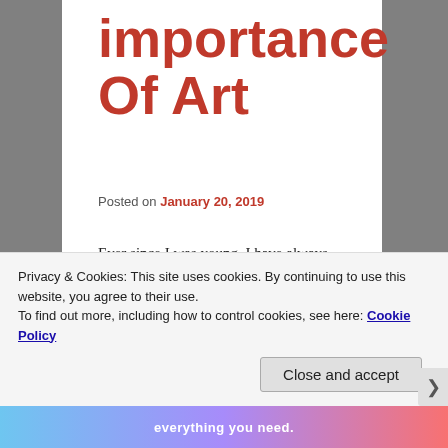importance Of Art
Posted on January 20, 2019
Ever since I was young, I have always been surrounded by Art in some shape or form.
My Mother would spend a fair amount of her time at her light table, working on inscriptions she was hired to do. Her expert hand-painted watercolour images and master calligraphy beautifully came together in a harmonious display.
Privacy & Cookies: This site uses cookies. By continuing to use this website, you agree to their use.
To find out more, including how to control cookies, see here: Cookie Policy
Close and accept
everything you need.